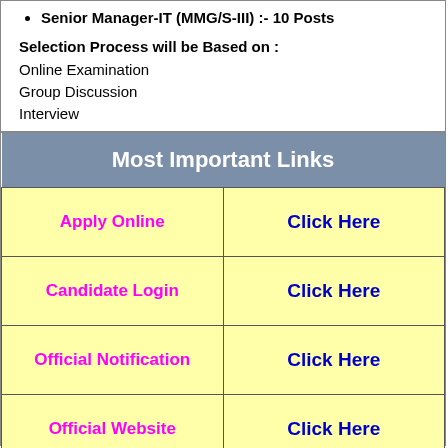Senior Manager-IT (MMG/S-III) :- 10 Posts
Selection Process will be Based on :
Online Examination
Group Discussion
Interview
| Most Important Links |  |
| --- | --- |
| Apply Online | Click Here |
| Candidate Login | Click Here |
| Official Notification | Click Here |
| Official Website | Click Here |